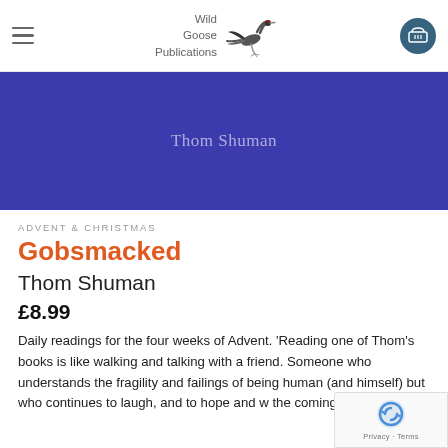Wild Goose Publications
[Figure (screenshot): Blue/purple banner with author name 'Thom Shuman' in muted lavender text on a dark blue/indigo background]
ADVENT & CHRISTMAS
Gobsmacked
Thom Shuman
£8.99
Daily readings for the four weeks of Advent. 'Reading one of Thom's books is like walking and talking with a friend. Someone who understands the fragility and failings of being human (and himself) but who continues to laugh, and to hope and w the coming of the Light.'